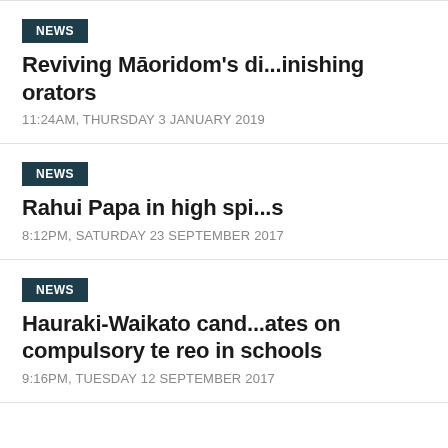NEWS
Reviving Māoridom's di...inishing orators
11:24AM, THURSDAY 3 JANUARY 2019
NEWS
Rahui Papa in high spi...s
8:12PM, SATURDAY 23 SEPTEMBER 2017
NEWS
Hauraki-Waikato cand...ates on compulsory te reo in schools
9:16PM, TUESDAY 12 SEPTEMBER 2017